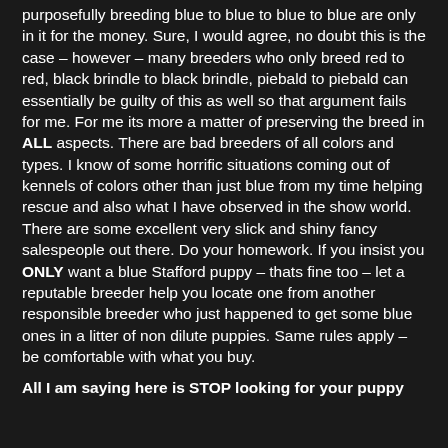purposefully breeding blue to blue to blue to blue are only in it for the money. Sure, I would agree, no doubt this is the case – however – many breeders who only breed red to red, black brindle to black brindle, piebald to piebald can essentially be guilty of this as well so that argument fails for me. For me its more a matter of preserving the breed in ALL aspects. There are bad breeders of all colors and types. I know of some horrific situations coming out of kennels of colors other than just blue from my time helping rescue and also what I have observed in the show world. There are some excellent very slick and shiny fancy salespeople out there. Do your homework. If you insist you ONLY want a blue Stafford puppy – thats fine too – let a reputable breeder help you locate one from another responsible breeder who just happened to get some blue ones in a litter of non dilute puppies. Same rules apply – be comfortable with what you buy.
All I am saying here is STOP looking for your puppy